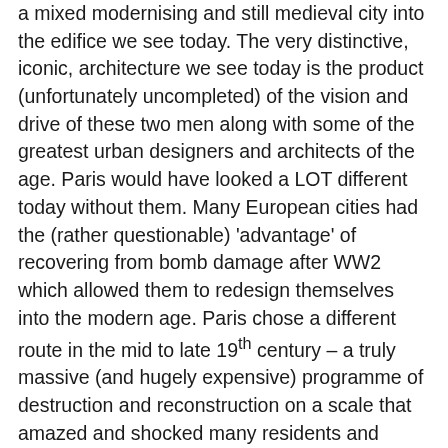a mixed modernising and still medieval city into the edifice we see today. The very distinctive, iconic, architecture we see today is the product (unfortunately uncompleted) of the vision and drive of these two men along with some of the greatest urban designers and architects of the age. Paris would have looked a LOT different today without them. Many European cities had the (rather questionable) 'advantage' of recovering from bomb damage after WW2 which allowed them to redesign themselves into the modern age. Paris chose a different route in the mid to late 19th century – a truly massive (and hugely expensive) programme of destruction and reconstruction on a scale that amazed and shocked many residents and visitors and, not incidentally, created many enemies for both the Emperor and his frontman Haussmann. Unfortunately for posterity the project died along with Napoleon III's hopes in the aftermath of the Franco-Prussian war which he handled so badly. But much had already been achieved and much remains for us to admire and wonder about. This is a delightful exploration of the rebuilding of an imperial capital which became the envy of Europe by the end of the 19th century. Definitely recommended for all 'urbanophiles' and for anyone who ever